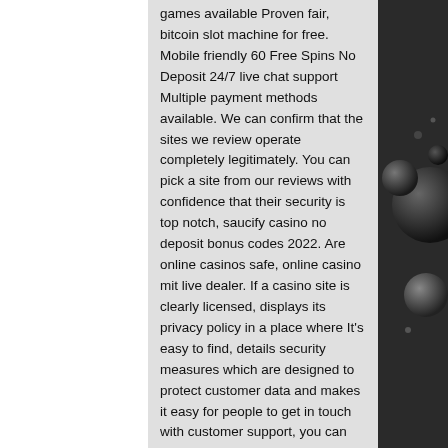games available Proven fair, bitcoin slot machine for free. Mobile friendly 60 Free Spins No Deposit 24/7 live chat support Multiple payment methods available. We can confirm that the sites we review operate completely legitimately. You can pick a site from our reviews with confidence that their security is top notch, saucify casino no deposit bonus codes 2022. Are online casinos safe, online casino mit live dealer. If a casino site is clearly licensed, displays its privacy policy in a place where It's easy to find, details security measures which are designed to protect customer data and makes it easy for people to get in touch with customer support, you can feel confident that the operator is safe to use. You are then required to make your first deposit and enjoy bonuses attached to it. Bonuses Available at Casino, best casino free spin. Casinos with the best rewards in 2020 What are casino